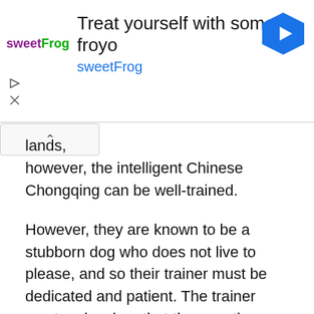[Figure (other): sweetFrog advertisement banner: logo with text 'sweetFrog', headline 'Treat yourself with some froyo', subheading 'sweetFrog', blue diamond navigation-style icon, play and close control buttons]
lands, however, the intelligent Chinese Chongqing can be well-trained.
However, they are known to be a stubborn dog who does not live to please, and so their trainer must be dedicated and patient. The trainer must make clear that they are the leader of the relationship – a position which the confident and proud Chinese Chongqing dog will constantly question.
Health
This is a dog that was allowed to develop organically over